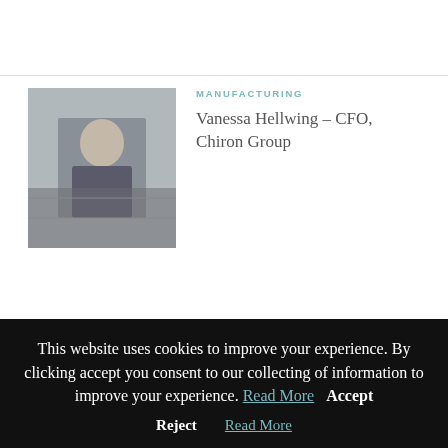[Figure (photo): Portrait photo of a person in a suit, industrial/office background]
MANUFACTURING
Vanessa Hellwing – CFO, Chiron Group
[Figure (photo): Portrait photo of a man in a suit, industrial background]
MANUFACTURING
No Soft Touch – Paolo Coelho Lima, CEO, Lameirinho
[Figure (photo): Partial photo, food & beverages category, partially visible]
FOOD & BEVERAGES
This website uses cookies to improve your experience. By clicking accept you consent to our collecting of information to improve your experience. Read More  Accept
Reject  Read More